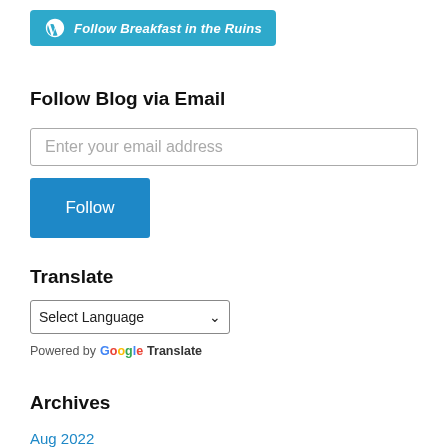[Figure (logo): WordPress Follow button: blue rounded rectangle with WordPress logo icon and text 'Follow Breakfast in the Ruins' in white italic bold]
Follow Blog via Email
Enter your email address
Follow
Translate
Select Language
Powered by Google Translate
Archives
Aug 2022